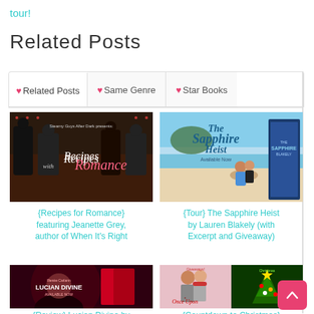tour!
Related Posts
♥ Related Posts   ♥ Same Genre   ♥ Star Books
[Figure (photo): Book cover image for Recipes for Romance featuring shirtless men]
{Recipes for Romance} featuring Jeanette Grey, author of When It's Right
[Figure (photo): Book cover image for The Sapphire Heist by Lauren Blakely with beach scene]
{Tour} The Sapphire Heist by Lauren Blakely (with Excerpt and Giveaway)
[Figure (photo): Book cover image for Lucian Divine by Renee Carlino]
{Review} Lucian Divine by
[Figure (photo): Book cover image for Once Upon a Royal Christmas with holiday theme]
{Countdown to Christmas}